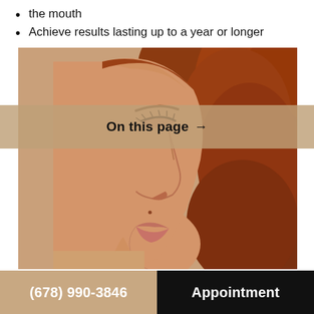the mouth
Achieve results lasting up to a year or longer
[Figure (photo): Profile view of a woman with auburn/red hair showing her nose, lips and facial profile against a warm beige/tan background. The image is used in context of a medical/cosmetic procedure page.]
On this page →
(678) 990-3846    Appointment